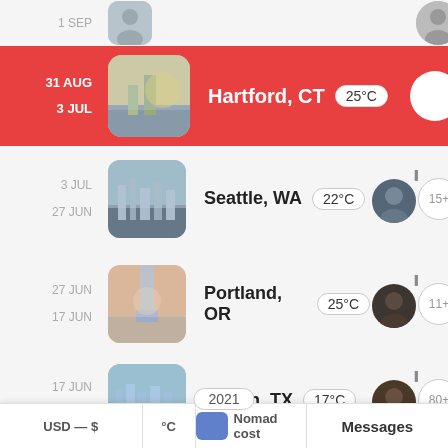1 SEP
31 AUG
3 JUL
Hartford, CT  25°C
3 JUL
27 JUN
Seattle, WA  22°C  15+
27 JUN
17 JUN
Portland, OR  25°C  11+
17 JUN
3 JAN
Austin, TX  17°C  80+
2021
New York C
USD — $
°C
Nomad cost
Messages